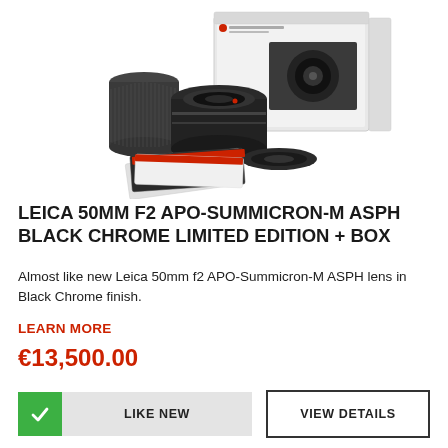[Figure (photo): Leica 50mm f2 APO-Summicron-M ASPH Black Chrome lens kit showing the lens, lens caps, carrying case, retail box, and accompanying booklets/documents arranged on a white background.]
LEICA 50MM F2 APO-SUMMICRON-M ASPH BLACK CHROME LIMITED EDITION + BOX
Almost like new Leica 50mm f2 APO-Summicron-M ASPH lens in Black Chrome finish.
LEARN MORE
€13,500.00
LIKE NEW
VIEW DETAILS